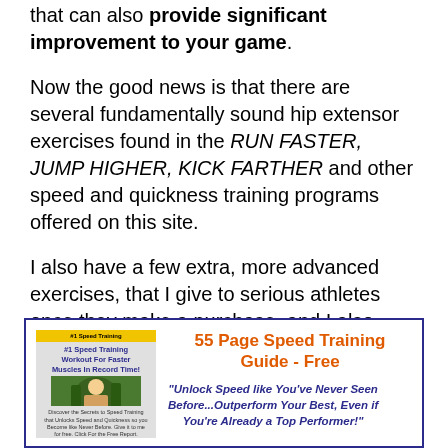that can also provide significant improvement to your game.
Now the good news is that there are several fundamentally sound hip extensor exercises found in the RUN FASTER, JUMP HIGHER, KICK FARTHER and other speed and quickness training programs offered on this site.
I also have a few extra, more advanced exercises, that I give to serious athletes once they make a purchase, and I also provide specific advice through video about how to finely tune these exercises for maximum speed, quickness and athletic advantage.
[Figure (infographic): Promotional box with dark blue border showing a book cover thumbnail on the left and on the right: '55 Page Speed Training Guide - Free' in orange bold text, and a quote in blue italic: 'Unlock Speed like You've Never Seen Before...Outperform Your Best, Even if You're Already a Top Performer!']